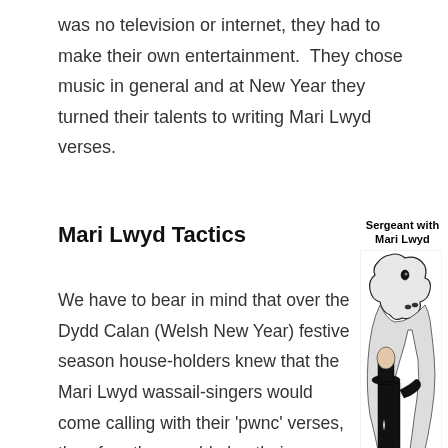was no television or internet, they had to make their own entertainment.  They chose music in general and at New Year they turned their talents to writing Mari Lwyd verses.
Mari Lwyd Tactics
[Figure (illustration): Black and white illustration of a sergeant standing next to a Mari Lwyd (a horse skull on a pole draped with white cloth). Caption reads 'Sergeant with Mari Lwyd'.]
We have to bear in mind that over the Dydd Calan (Welsh New Year) festive season house-holders knew that the Mari Lwyd wassail-singers would come calling with their 'pwnc' verses, therefore they could plan their response in